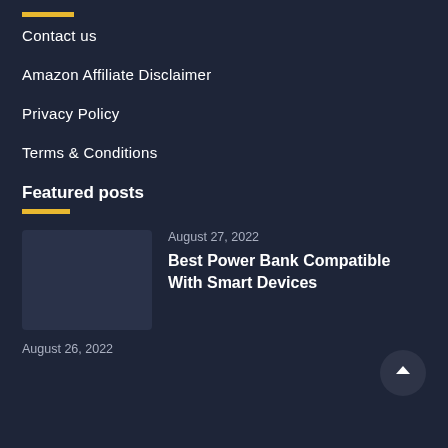Contact us
Amazon Affiliate Disclaimer
Privacy Policy
Terms & Conditions
Featured posts
August 27, 2022
Best Power Bank Compatible With Smart Devices
August 26, 2022